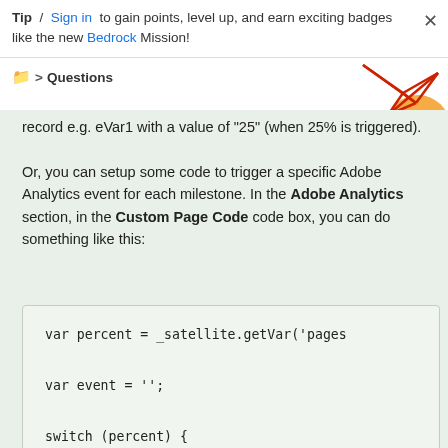Tip / Sign in to gain points, level up, and earn exciting badges like the new Bedrock Mission!
Questions
record e.g. eVar1 with a value of "25" (when 25% is triggered).

Or, you can setup some code to trigger a specific Adobe Analytics event for each milestone. In the Adobe Analytics section, in the Custom Page Code code box, you can do something like this:
var percent = _satellite.getVar('pages
var event = '';
switch (percent) {
    case 25: